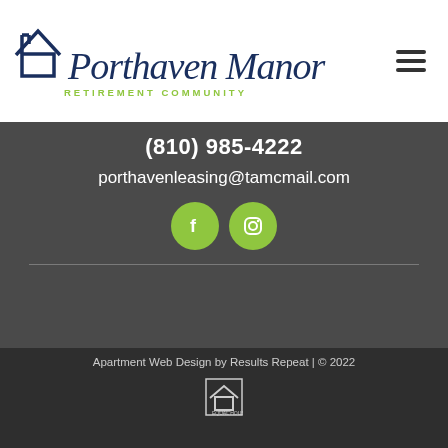[Figure (logo): Porthaven Manor Retirement Community logo with house outline and script text]
(810) 985-4222
porthavenleasing@tamcmail.com
[Figure (illustration): Facebook and Instagram social media icons in green circles]
HOME | APARTMENTS | THE PORTHAVEN LIFE | CONTACT US | APPLY NOW | VAWA | SITEMAP
Apartment Web Design by Results Repeat | © 2022
[Figure (logo): Equal Housing Opportunity logo]